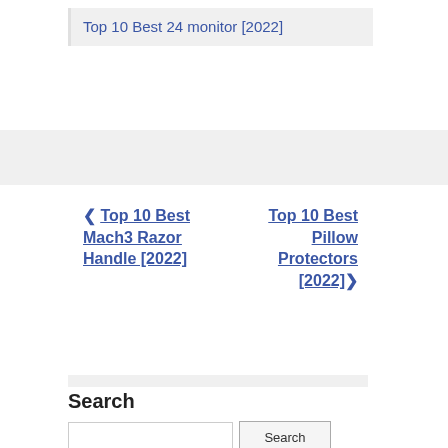Top 10 Best 24 monitor [2022]
← Top 10 Best Mach3 Razor Handle [2022]   Top 10 Best Pillow Protectors [2022] →
Search